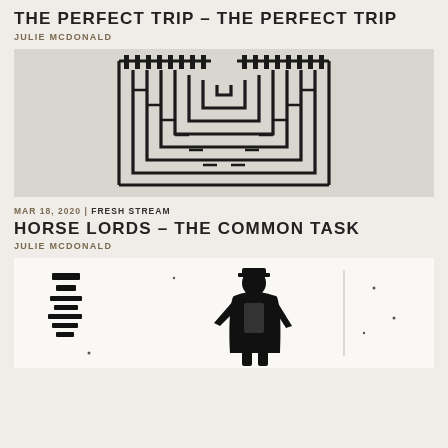THE PERFECT TRIP – THE PERFECT TRIP
JULIE MCDONALD
[Figure (illustration): Black and white maze/labyrinth graphic, symmetrical U-shape design with nested rectangular paths on a light grey background]
MAR 18, 2020 | FRESH STREAM
HORSE LORDS – THE COMMON TASK
JULIE MCDONALD
[Figure (illustration): Black and white illustration showing a stylized figure/person standing, with text or graphic elements on the left side, on a white background]